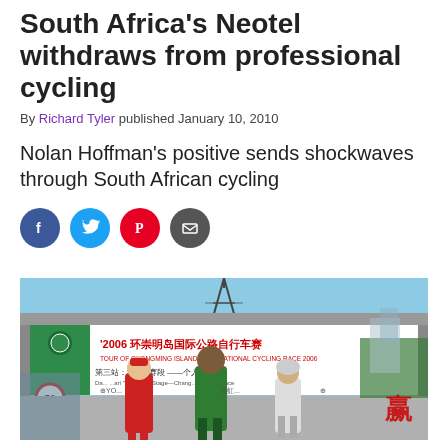South Africa's Neotel withdraws from professional cycling
By Richard Tyler published January 10, 2010
Nolan Hoffman's positive sends shockwaves through South African cycling
[Figure (other): Social share icons: Facebook, Twitter, Pinterest, Email]
[Figure (photo): Three cyclists standing in front of a 2006 Tour of Chongming Island International Cycling Race banner/arch with Chinese text, outdoors on a sunny day. A speed limit sign showing 50 is visible on the left.]